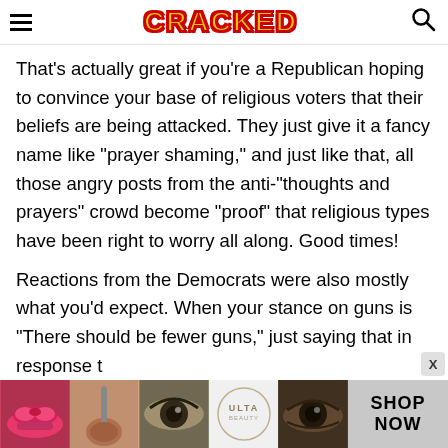CRACKED
That's actually great if you're a Republican hoping to convince your base of religious voters that their beliefs are being attacked. They just give it a fancy name like "prayer shaming," and just like that, all those angry posts from the anti-"thoughts and prayers" crowd become "proof" that religious types have been right to worry all along. Good times!
Reactions from the Democrats were also mostly what you'd expect. When your stance on guns is "There should be fewer guns," just saying that in response t
[Figure (photo): Advertisement banner for ULTA beauty products showing close-up images of lips with red lipstick, makeup brushes, eye makeup, ULTA logo, and eye makeup. Right side shows 'SHOP NOW' text on grey background.]